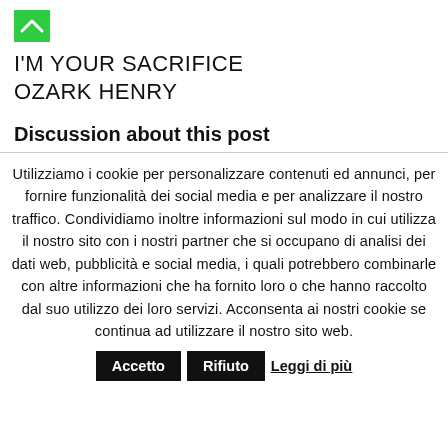[Figure (other): Green box with upward chevron/arrow icon]
I'M YOUR SACRIFICE OZARK HENRY
Discussion about this post
Utilizziamo i cookie per personalizzare contenuti ed annunci, per fornire funzionalità dei social media e per analizzare il nostro traffico. Condividiamo inoltre informazioni sul modo in cui utilizza il nostro sito con i nostri partner che si occupano di analisi dei dati web, pubblicità e social media, i quali potrebbero combinarle con altre informazioni che ha fornito loro o che hanno raccolto dal suo utilizzo dei loro servizi. Acconsenta ai nostri cookie se continua ad utilizzare il nostro sito web.
Accetto  Rifiuto  Leggi di più